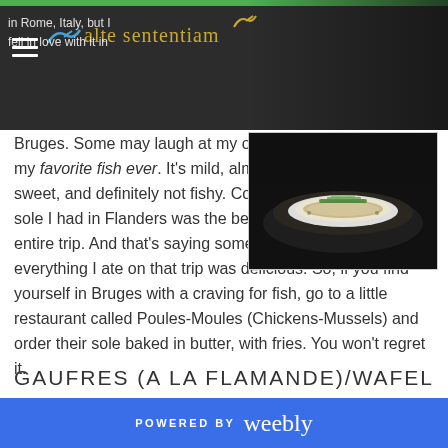alte sententiam
[Figure (photo): A plate of sole fish garnished with green herbs on a dark background]
Bruges. Some may laugh at my ode to sole, but it's my favorite fish ever. It's mild, almost buttery, slightly sweet, and definitely not fishy. Cooked simply in butter, the sole I had in Flanders was the best thing I'd eaten on my entire trip. And that's saying something, because everything I ate on that trip was delicious. So, if you find yourself in Bruges with a craving for fish, go to a little restaurant called Poules-Moules (Chickens-Mussels) and order their sole baked in butter, with fries. You won't regret it.
GAUFRES (A LA FLAMANDE)/WAFEL
POWERED BY weebly